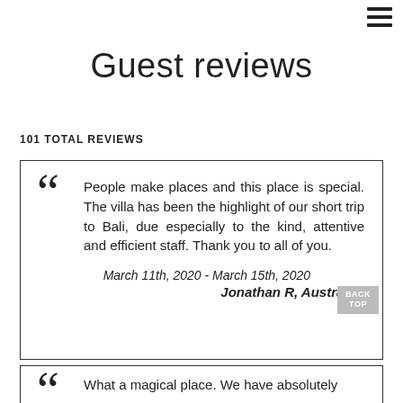≡
Guest reviews
101 TOTAL REVIEWS
People make places and this place is special. The villa has been the highlight of our short trip to Bali, due especially to the kind, attentive and efficient staff. Thank you to all of you.

March 11th, 2020 - March 15th, 2020
Jonathan R, Australia
What a magical place. We have absolutely